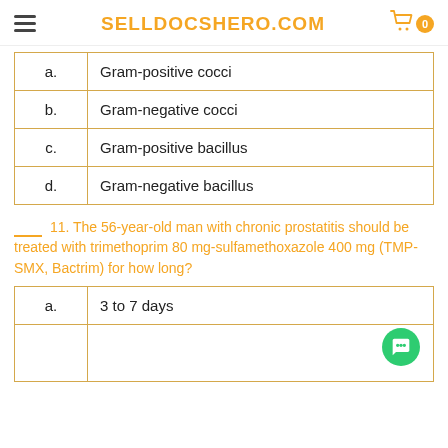SELLDOCSHERO.COM
| a. | Gram-positive cocci |
| b. | Gram-negative cocci |
| c. | Gram-positive bacillus |
| d. | Gram-negative bacillus |
___ 11. The 56-year-old man with chronic prostatitis should be treated with trimethoprim 80 mg-sulfamethoxazole 400 mg (TMP-SMX, Bactrim) for how long?
| a. | 3 to 7 days |